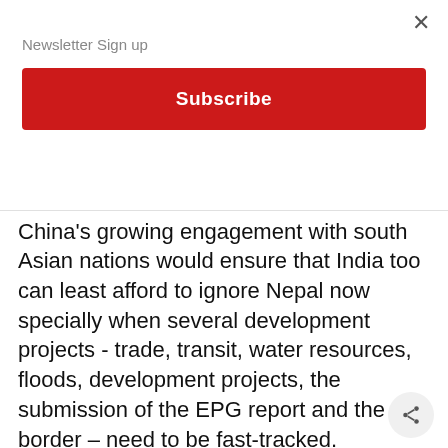Newsletter Sign up
Subscribe
country's diplomatic ties with New Delhi.
China's growing engagement with south Asian nations would ensure that India too can least afford to ignore Nepal now specially when several development projects - trade, transit, water resources, floods, development projects, the submission of the EPG report and the border – need to be fast-tracked.
All eyes will now be on Oli to gauge if he can consolidate his position as Nepal's prime minister, arrest the growing pandemic infection